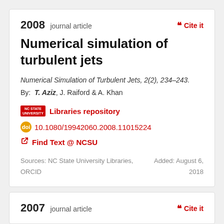2008 journal article
Cite it
Numerical simulation of turbulent jets
Numerical Simulation of Turbulent Jets, 2(2), 234–243.
By: T. Aziz, J. Raiford & A. Khan
Libraries repository
10.1080/19942060.2008.11015224
Find Text @ NCSU
Sources: NC State University Libraries,  Added: August 6,
ORCID                                          2018
2007 journal article
Cite it